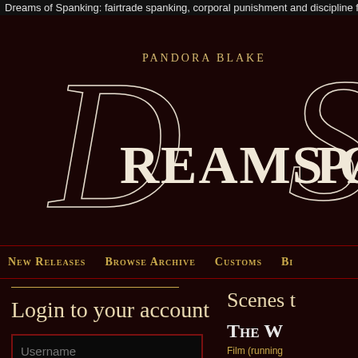Dreams of Spanking: fairtrade spanking, corporal punishment and discipline fantas
[Figure (logo): Pandora Blake Dreams of Spanking logo with large ornate script letters D and S on dark red/brown background]
New Releases   Browse Archive   Customs   Bi
Login to your account
Username (input field)
•••••••• (password input field)
Click here if you want to register a new account or here if you forgot your login details
Scenes t
The W
Film (running